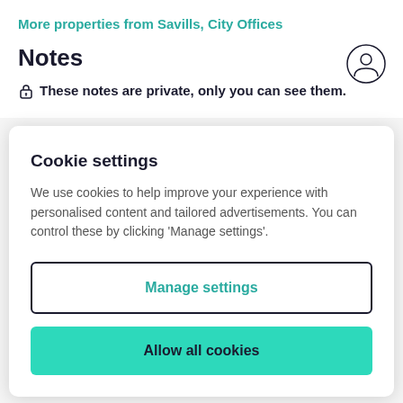More properties from Savills, City Offices
Notes
These notes are private, only you can see them.
Cookie settings
We use cookies to help improve your experience with personalised content and tailored advertisements. You can control these by clicking 'Manage settings'.
Manage settings
Allow all cookies
Disclaimer - Property reference 28B3D83F-BEB2-40A8-89DA-17876D6EA202. The information displayed about this property